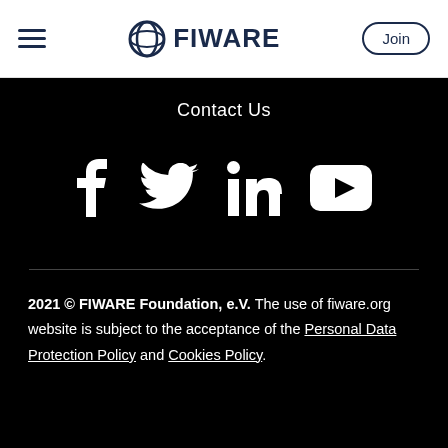[Figure (logo): FIWARE logo with globe icon and text 'FIWARE' in dark navy, hamburger menu icon on left, and 'Join' button on right]
Contact Us
[Figure (infographic): Social media icons: Facebook (f), Twitter (bird), LinkedIn (in), YouTube (play button triangle) — all white on black background]
2021 © FIWARE Foundation, e.V. The use of fiware.org website is subject to the acceptance of the Personal Data Protection Policy and Cookies Policy.